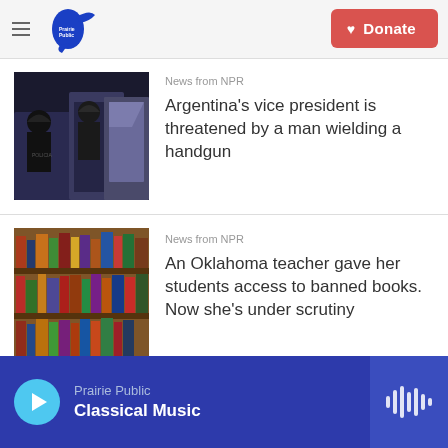Prairie Public — Donate
News from NPR
Argentina's vice president is threatened by a man wielding a handgun
News from NPR
An Oklahoma teacher gave her students access to banned books. Now she's under scrutiny
Prairie Public — Classical Music